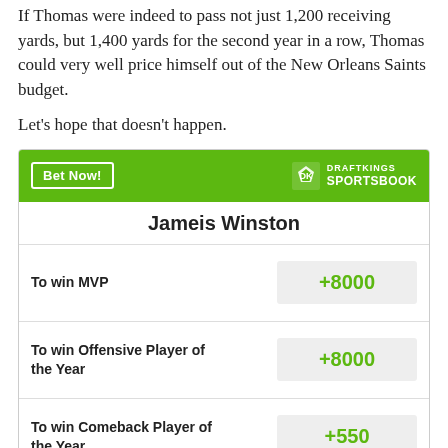If Thomas were indeed to pass not just 1,200 receiving yards, but 1,400 yards for the second year in a row, Thomas could very well price himself out of the New Orleans Saints budget.
Let's hope that doesn't happen.
| Bet | Odds |
| --- | --- |
| To win MVP | +8000 |
| To win Offensive Player of the Year | +8000 |
| To win Comeback Player of the Year | +550 |
Odds/Lines subject to change. See draftkings.com for details.